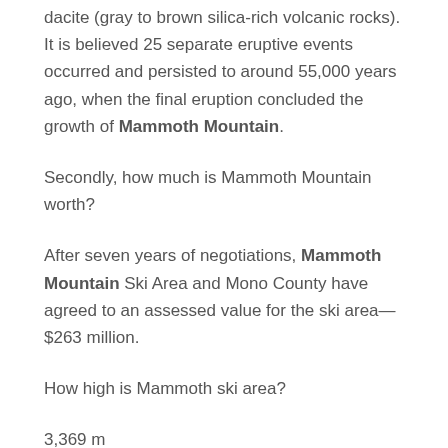dacite (gray to brown silica-rich volcanic rocks). It is believed 25 separate eruptive events occurred and persisted to around 55,000 years ago, when the final eruption concluded the growth of Mammoth Mountain.
Secondly, how much is Mammoth Mountain worth?
After seven years of negotiations, Mammoth Mountain Ski Area and Mono County have agreed to an assessed value for the ski area—$263 million.
How high is Mammoth ski area?
3,369 m